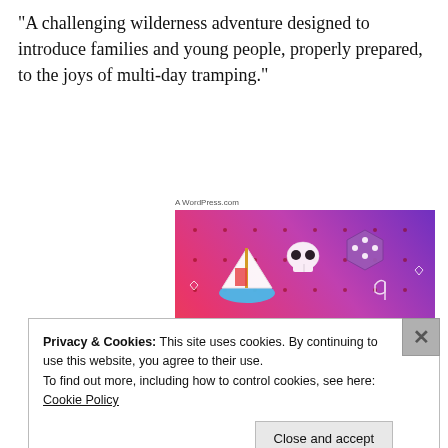“A challenging wilderness adventure designed to introduce families and young people, properly prepared, to the joys of multi-day tramping.”
[Figure (illustration): Fandom on Tumblr promotional image with colorful gradient background (orange to pink to purple), featuring hand-drawn doodles (sailboat, skull, dice, music notes, hearts, arrows) and bold text reading 'FANDOM ON tumblr']
Privacy & Cookies: This site uses cookies. By continuing to use this website, you agree to their use.
To find out more, including how to control cookies, see here: Cookie Policy
Close and accept